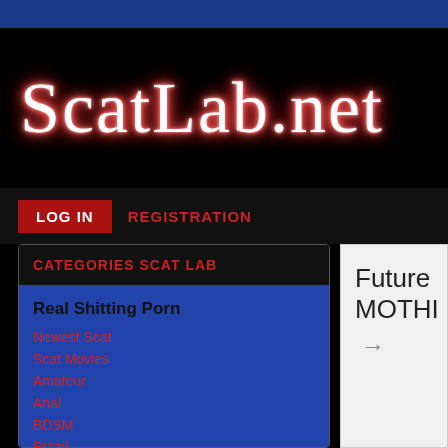[Figure (screenshot): Blue navigation bar at top of webpage]
ScatLab.net
LOG IN   REGISTRATION
CATEGORIES SCAT LAB
Real Shitting Porn
Newest Scat
Scat Movies
Amateur
Anal
BDSM
Brazil
Domination
Enema
Future MOTHI